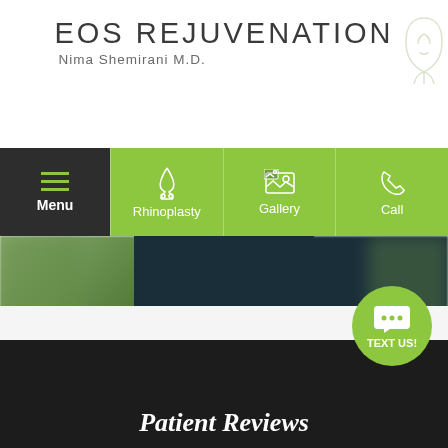[Figure (logo): EOS Rejuvenation logo with face silhouette line art]
EOS REJUVENATION
Nima Shemirani M.D.
[Figure (screenshot): Website navigation bar with Menu (dark), Rhinoplasty, Gallery, Call buttons on green background]
[Figure (photo): Man in dark suit buttoning jacket, blurred outdoor background]
LEARN ABOUT DR. NIMA
[Figure (infographic): Green circular TEXT US! chat button with speech bubble icon]
Patient Reviews